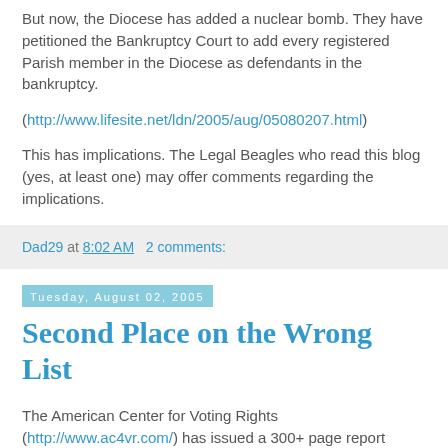But now, the Diocese has added a nuclear bomb. They have petitioned the Bankruptcy Court to add every registered Parish member in the Diocese as defendants in the bankruptcy.
(http://www.lifesite.net/ldn/2005/aug/05080207.html)
This has implications. The Legal Beagles who read this blog (yes, at least one) may offer comments regarding the implications.
Dad29 at 8:02 AM    2 comments:
Tuesday, August 02, 2005
Second Place on the Wrong List
The American Center for Voting Rights (http://www.ac4vr.com/) has issued a 300+ page report (PDF) stating that Philadelphia, PA., is the single most